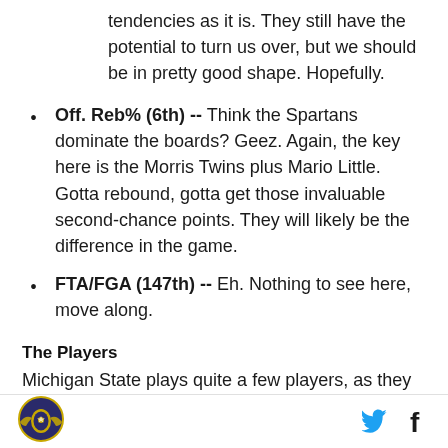tendencies as it is. They still have the potential to turn us over, but we should be in pretty good shape. Hopefully.
Off. Reb% (6th) -- Think the Spartans dominate the boards? Geez. Again, the key here is the Morris Twins plus Mario Little. Gotta rebound, gotta get those invaluable second-chance points. They will likely be the difference in the game.
FTA/FGA (147th) -- Eh. Nothing to see here, move along.
The Players
Michigan State plays quite a few players, as they are incredibly deep, but there are 7 key players. That's who